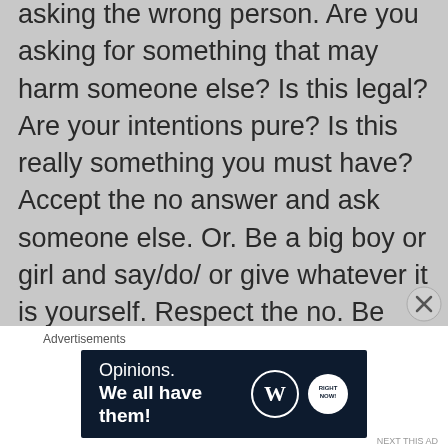asking the wrong person. Are you asking for something that may harm someone else? Is this legal? Are your intentions pure? Is this really something you must have? Accept the no answer and ask someone else. Or. Be a big boy or girl and say/do/ or give whatever it is yourself. Respect the no. Be responsible.
Yes! Woot! Awesome, you got a yes! Celebrate. Be grateful. Show the yes-sayer that you appreciate him or her. Follow through with your part. Be happy. Pass the good fortune forward. Since someone is helping you, help someone.
Advertisements
[Figure (screenshot): Dark blue advertisement banner reading 'Opinions. We all have them!' with WordPress and another logo on the right.]